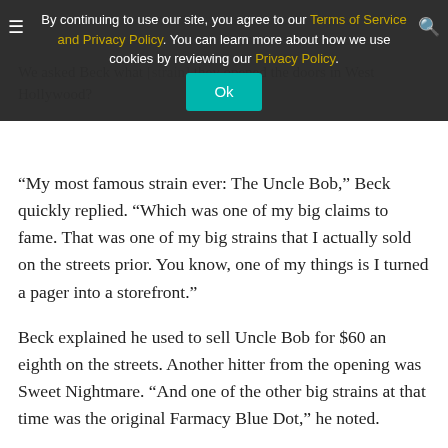[Figure (screenshot): Cookie consent overlay banner on a website. Contains hamburger menu icon, search icon, text: 'By continuing to use our site, you agree to our Terms of Service and Privacy Policy. You can learn more about how we use cookies by reviewing our Privacy Policy.' with a teal 'Ok' button and a close X button.]
We asked Beck what [strain] they opened the doors in West Hollywood?
“My most famous strain ever: The Uncle Bob,” Beck quickly replied. “Which was one of my big claims to fame. That was one of my big strains that I actually sold on the streets prior. You know, one of my things is I turned a pager into a storefront.”
Beck explained he used to sell Uncle Bob for $60 an eighth on the streets. Another hitter from the opening was Sweet Nightmare. “And one of the other big strains at that time was the original Farmacy Blue Dot,” he noted.
Browner spoke to the pair’s early adventures in OG Kush. I mentioned to Browner that Beck had noted back in the day he had a line on $5,000 pounds of OG Kush in an age when everyone was paying $6,000 for the real deal. She laughed, “Before I had partnered with Jason – this was like in 2004 – Jason gave me so much shit for it, but he bought one too. But I think we both spent like eight grand on a pound.” Beck separately noted $8,000 was